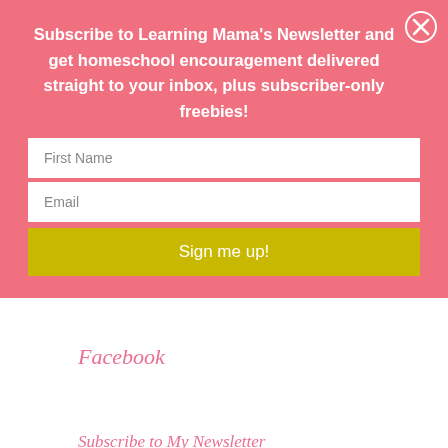Subscribe to Learning Mama's Newsletter and get homeschool encouragement delivered straight to your inbox, plus subscriber-only freebies!
[Figure (other): Newsletter signup form with First Name input, Email input, and a yellow 'Sign me up!' button on a pink background. A close (X) button is in the top-right corner.]
Facebook
Subscribe to My Newsletter
Get homeschool encouragement sent straight